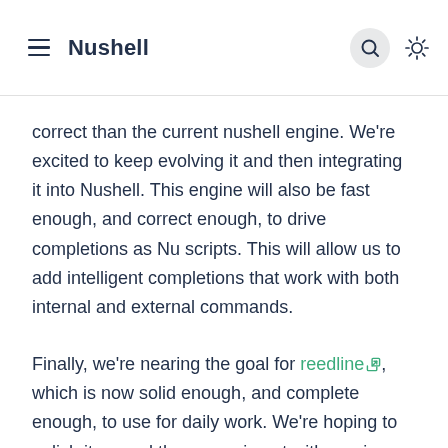Nushell
correct than the current nushell engine. We're excited to keep evolving it and then integrating it into Nushell. This engine will also be fast enough, and correct enough, to drive completions as Nu scripts. This will allow us to add intelligent completions that work with both internal and external commands.
Finally, we're nearing the goal for reedline, which is now solid enough, and complete enough, to use for daily work. We're hoping to polish it up and then experiment with moving Nushell to use it in the coming release (or two).